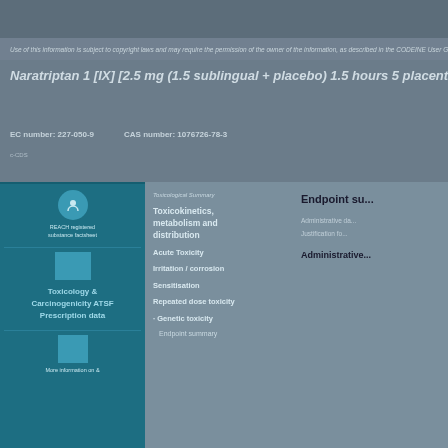Use of this information is subject to copyright laws and may require the permission of the owner of the information, as described in the CODEINE User Guide.
Naratriptan 1 [IX] [2.5 mg (1.5 sublingual + placebo) 1.5 hours 5 placenta X]
EC number: 227-050-9    CAS number: 1076726-78-3
c-CDS
[Figure (infographic): Teal panel with icons for clinical trials and prescribing information]
Toxicological Summary
Toxicokinetics, metabolism and distribution
Acute Toxicity
Irritation / corrosion
Sensitisation
Repeated dose toxicity
Genetic toxicity
Endpoint summary
Endpoint su...
Administrative da...
Justification fo...
Administrative...